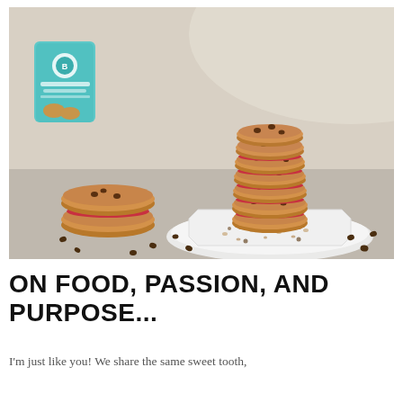[Figure (photo): Stacked chocolate chip cookies with red jam filling on a white octagonal plate, next to a cookie sandwich and a teal branded cookie package in the background, with scattered chocolate chips and grains on a light surface.]
ON FOOD, PASSION, AND PURPOSE...
I'm just like you! We share the same sweet tooth,